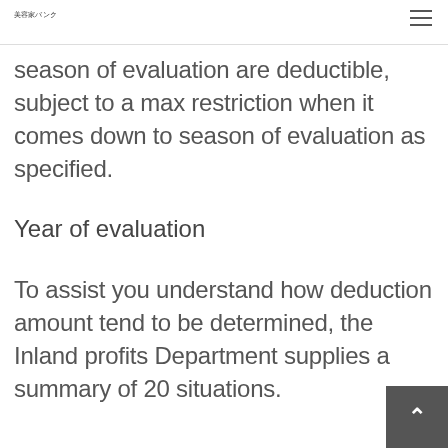美容家バンク
season of evaluation are deductible, subject to a max restriction when it comes down to season of evaluation as specified.
Year of evaluation
To assist you understand how deduction amount tend to be determined, the Inland profits Department supplies a summary of 20 situations.